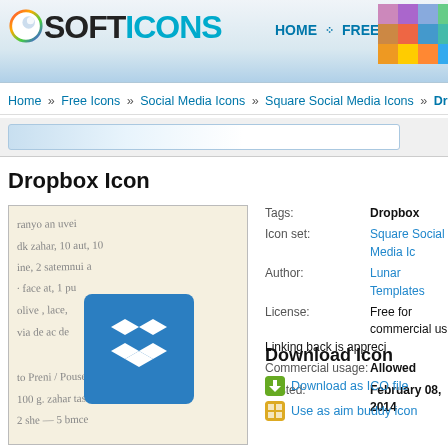[Figure (screenshot): Softicons website header with logo, navigation links (HOME, FREE ICONS, ICON T...), and a colorful grid graphic on the right]
Home » Free Icons » Social Media Icons » Square Social Media Icons » Dropbo
[Figure (screenshot): Search bar with gradient blue-to-white input field]
Dropbox Icon
[Figure (illustration): Icon preview showing a handwritten note background with a blue Dropbox icon (white open box logo) overlaid in the center]
Tags: Dropbox
Icon set: Square Social Media Icons
Author: Lunar Templates
License: Free for commercial use
Linking back is appreciated
Commercial usage: Allowed
Posted: February 08, 2014
Download Icon
Download as ICO file
Use as aim buddy icon